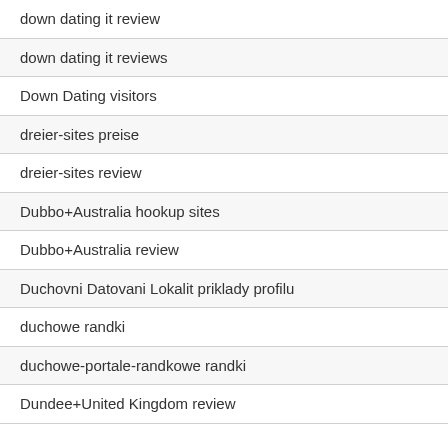| down dating it review |
| down dating it reviews |
| Down Dating visitors |
| dreier-sites preise |
| dreier-sites review |
| Dubbo+Australia hookup sites |
| Dubbo+Australia review |
| Duchovni Datovani Lokalit priklady profilu |
| duchowe randki |
| duchowe-portale-randkowe randki |
| Dundee+United Kingdom review |